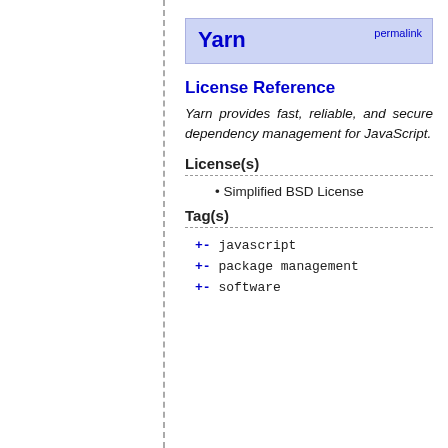Yarn permalink
License Reference
Yarn provides fast, reliable, and secure dependency management for JavaScript.
License(s)
Simplified BSD License
Tag(s)
+- javascript
+- package management
+- software